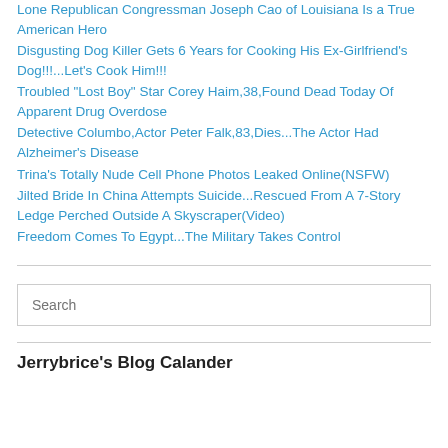Lone Republican Congressman Joseph Cao of Louisiana Is a True American Hero
Disgusting Dog Killer Gets 6 Years for Cooking His Ex-Girlfriend's Dog!!!...Let's Cook Him!!!
Troubled "Lost Boy" Star Corey Haim,38,Found Dead Today Of Apparent Drug Overdose
Detective Columbo,Actor Peter Falk,83,Dies...The Actor Had Alzheimer's Disease
Trina's Totally Nude Cell Phone Photos Leaked Online(NSFW)
Jilted Bride In China Attempts Suicide...Rescued From A 7-Story Ledge Perched Outside A Skyscraper(Video)
Freedom Comes To Egypt...The Military Takes Control
Search
Jerrybrice's Blog Calander